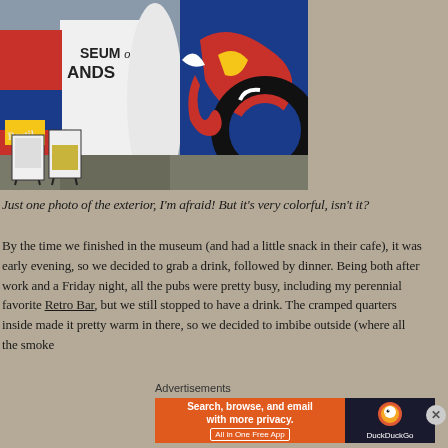[Figure (photo): Exterior photo of a building labeled 'MUSEUM of BANDS' with colorful graffiti/mural art on its walls featuring bold red, blue, yellow, and white abstract designs. Sandwich boards are visible in front of the entrance.]
Just one photo of the exterior, I'm afraid! But it's very colorful, isn't it?
By the time we finished in the museum (and had a little snack in their cafe), it was early evening, so we decided to grab a drink, followed by dinner. Being both after work and a Friday night, all the pubs were pretty busy, including my perennial favorite Retro Bar, but we still stopped to have a drink. The cramped quarters inside made it pretty warm in there, so we decided to imbibe outside (where all the smoke
Advertisements
[Figure (screenshot): DuckDuckGo advertisement banner: orange left section reads 'Search, browse, and email with more privacy. All in One Free App', dark right section shows DuckDuckGo duck logo and name.]